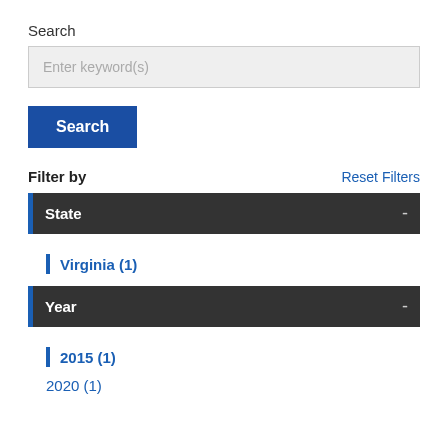Search
Enter keyword(s)
Search
Filter by
Reset Filters
State -
Virginia (1)
Year -
2015 (1)
2020 (1)